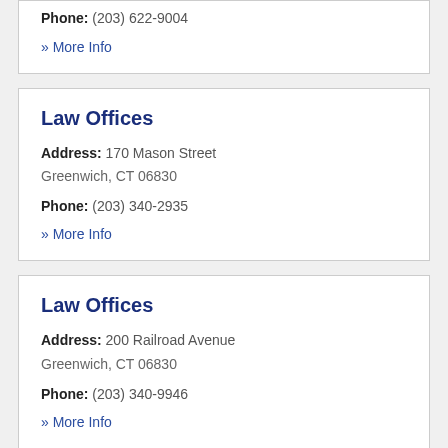Phone: (203) 622-9004
» More Info
Law Offices
Address: 170 Mason Street
Greenwich, CT 06830
Phone: (203) 340-2935
» More Info
Law Offices
Address: 200 Railroad Avenue
Greenwich, CT 06830
Phone: (203) 340-9946
» More Info